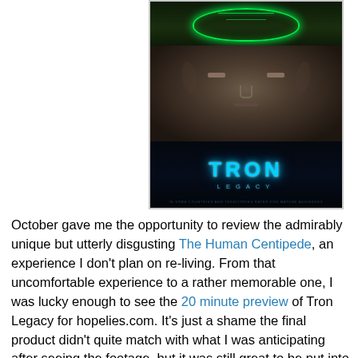[Figure (photo): Three stacked movie images: top panel shows a glowing green circular helmet/visor from above in darkness; middle panel shows a close-up of a man's face with intense eyes in dark grey tones; bottom panel shows the TRON: LEGACY movie logo with cyan glowing text on dark background.]
October gave me the opportunity to review the admirably unique but utterly disgusting The Human Centipede, an experience I don't plan on re-living. From that uncomfortable experience to a rather memorable one, I was lucky enough to see the 20 minute preview of Tron Legacy for hopelies.com. It's just a shame the final product didn't quite match with what I was anticipating after seeing the footage, but it was still great to be put into that beautifully realised world early. One thing I have learnt over the course of the